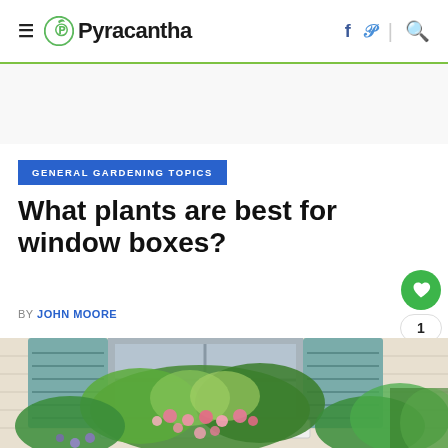Pyracantha
GENERAL GARDENING TOPICS
What plants are best for window boxes?
BY JOHN MOORE
[Figure (photo): Window box with colorful flowers including pink blooms and green foliage, in front of a house with teal/blue shutters and white siding]